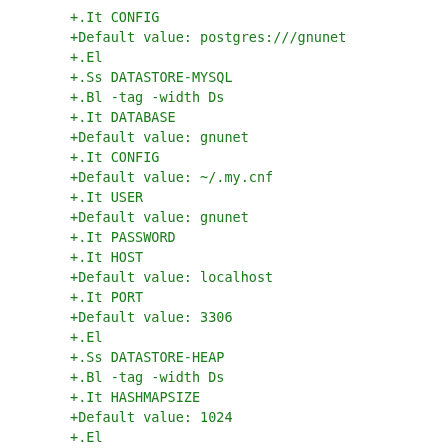+.It CONFIG
+Default value: postgres:///gnunet
+.El
+.Ss DATASTORE-MYSQL
+.Bl -tag -width Ds
+.It DATABASE
+Default value: gnunet
+.It CONFIG
+Default value: ~/.my.cnf
+.It USER
+Default value: gnunet
+.It PASSWORD
+.It HOST
+Default value: localhost
+.It PORT
+Default value: 3306
+.El
+.Ss DATASTORE-HEAP
+.Bl -tag -width Ds
+.It HASHMAPSIZE
+Default value: 1024
+.El
+.Ss DHT
+.Bl -tag -width Ds
+.El
+.Ss EXIT
+.Bl -tag -width Ds
+.El
+.Ss FS
+.Bl -tag -width Ds